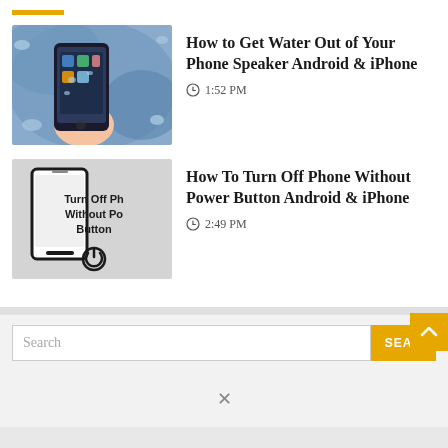[Figure (photo): A hand holding a smartphone being splashed with water]
How to Get Water Out of Your Phone Speaker Android & iPhone
1:52 PM
[Figure (infographic): Gray card showing a smartphone outline with bold text: Turn Off Ph Without Po Button and a power icon]
How To Turn Off Phone Without Power Button Android & iPhone
2:49 PM
Search
SEAR